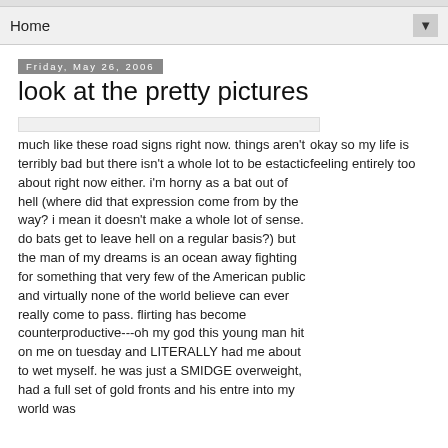Home ▼
Friday, May 26, 2006
look at the pretty pictures
[Figure (other): Placeholder image strip (road signs photo)]
okay so my life is feeling entirely too much like these road signs right now. things aren't terribly bad but there isn't a whole lot to be estactic about right now either. i'm horny as a bat out of hell (where did that expression come from by the way? i mean it doesn't make a whole lot of sense. do bats get to leave hell on a regular basis?) but the man of my dreams is an ocean away fighting for something that very few of the American public and virtually none of the world believe can ever really come to pass. flirting has become counterproductive---oh my god this young man hit on me on tuesday and LITERALLY had me about to wet myself. he was just a SMIDGE overweight, had a full set of gold fronts and his entre into my world was